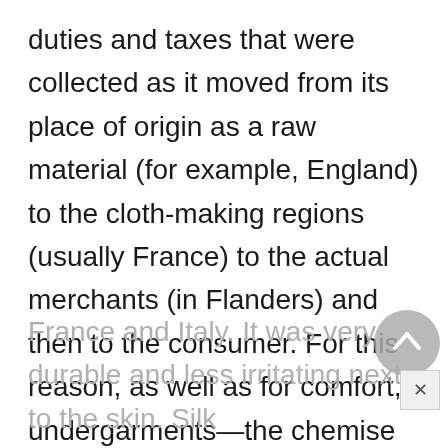duties and taxes that were collected as it moved from its place of origin as a raw material (for example, England) to the cloth-making regions (usually France) to the actual merchants (in Flanders) and then to the consumer. For this reason, as well as for comfort, undergarments—the chemise or long smock worn by both men and women —were made of linen, a fiber derived from the flax plant, which grew well in
France and Italy. It was very durable and less irritating next to the skin. Silk